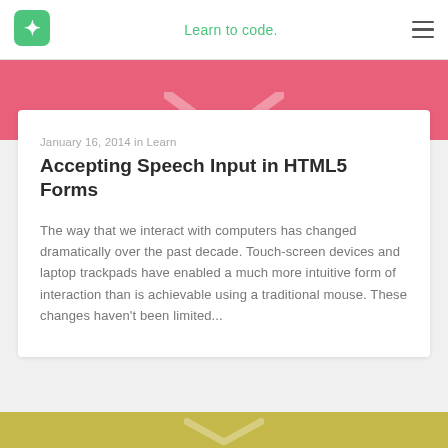Learn to code.
[Figure (illustration): Pink banner with a downward-pointing chevron/arrow shape at the bottom center]
January 16, 2014 in Learn
Accepting Speech Input in HTML5 Forms
The way that we interact with computers has changed dramatically over the past decade. Touch-screen devices and laptop trackpads have enabled a much more intuitive form of interaction than is achievable using a traditional mouse. These changes haven't been limited...